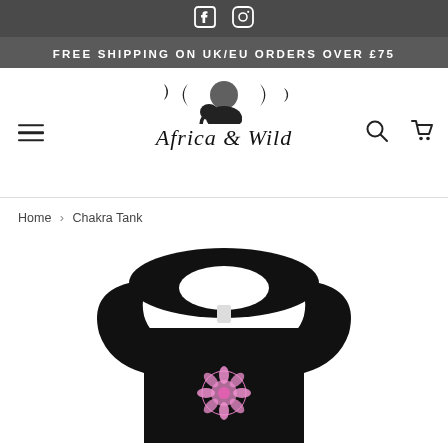FREE SHIPPING ON UK/EU ORDERS OVER £75
[Figure (logo): Africa & Wild brand logo with moon phases and elephant silhouette]
Home › Chakra Tank
[Figure (photo): Black sleeveless tank top with pink chakra mandala design on front, shown from front view]